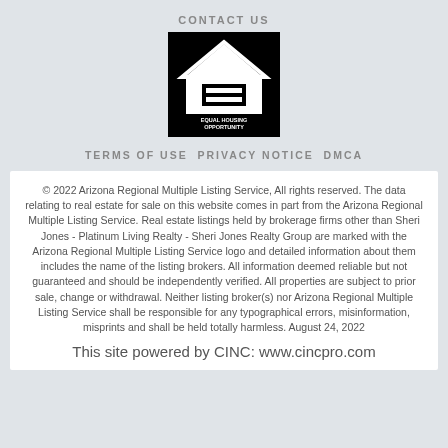CONTACT US
[Figure (logo): Equal Housing Opportunity logo — white house icon with equal sign on black background, text 'EQUAL HOUSING OPPORTUNITY']
TERMS OF USE  PRIVACY NOTICE  DMCA
© 2022 Arizona Regional Multiple Listing Service, All rights reserved. The data relating to real estate for sale on this website comes in part from the Arizona Regional Multiple Listing Service. Real estate listings held by brokerage firms other than Sheri Jones - Platinum Living Realty - Sheri Jones Realty Group are marked with the Arizona Regional Multiple Listing Service logo and detailed information about them includes the name of the listing brokers. All information deemed reliable but not guaranteed and should be independently verified. All properties are subject to prior sale, change or withdrawal. Neither listing broker(s) nor Arizona Regional Multiple Listing Service shall be responsible for any typographical errors, misinformation, misprints and shall be held totally harmless. August 24, 2022
This site powered by CINC: www.cincpro.com